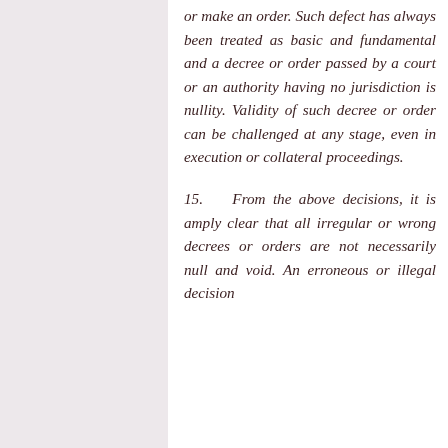or make an order. Such defect has always been treated as basic and fundamental and a decree or order passed by a court or an authority having no jurisdiction is nullity. Validity of such decree or order can be challenged at any stage, even in execution or collateral proceedings.
15. From the above decisions, it is amply clear that all irregular or wrong decrees or orders are not necessarily null and void. An erroneous or illegal decision